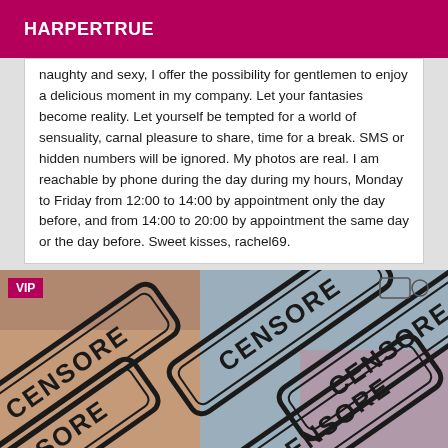HARPERTRUE
naughty and sexy, I offer the possibility for gentlemen to enjoy a delicious moment in my company. Let your fantasies become reality. Let yourself be tempted for a world of sensuality, carnal pleasure to share, time for a break. SMS or hidden numbers will be ignored. My photos are real. I am reachable by phone during the day during my hours, Monday to Friday from 12:00 to 14:00 by appointment only the day before, and from 14:00 to 20:00 by appointment the same day or the day before. Sweet kisses, rachel69.
[Figure (photo): Censored photo with multiple CENSORE stamp overlays in black and white diagonal orientation, VIP badge in top-left corner]